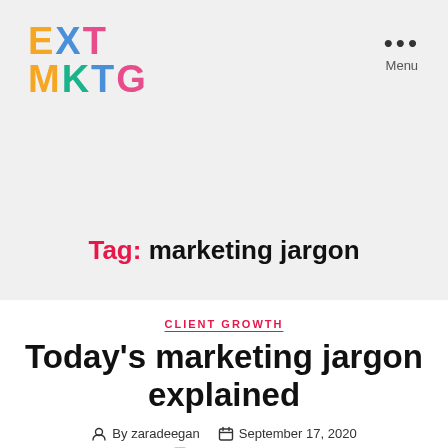[Figure (logo): EXT MKTG colorful logo with letters in orange, blue, pink, green colors]
Menu
Tag: marketing jargon
CLIENT GROWTH
Today's marketing jargon explained
By zaradeegan   September 17, 2020   No Comments